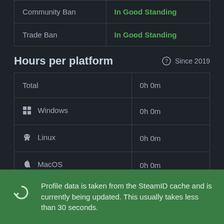|  |  |
| --- | --- |
| Community Ban | In Good Standing |
| Trade Ban | In Good Standing |
Hours per platform
Since 2019
|  |  |
| --- | --- |
| Total | 0h 0m |
| Windows | 0h 0m |
| Linux | 0h 0m |
| MacOS | 0h 0m |
Profile data is taken from the SteamID cache and is currently being updated. This usually takes less than 30 seconds.